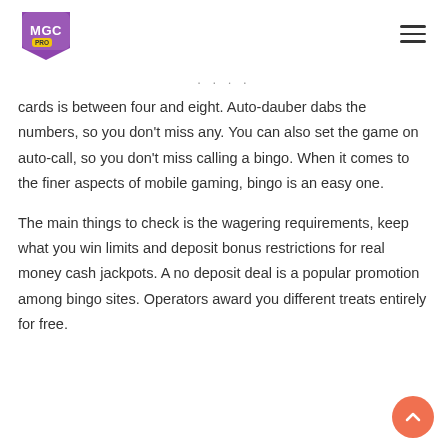MGC PRO logo and navigation menu
cards is between four and eight. Auto-dauber dabs the numbers, so you don't miss any. You can also set the game on auto-call, so you don't miss calling a bingo. When it comes to the finer aspects of mobile gaming, bingo is an easy one.
The main things to check is the wagering requirements, keep what you win limits and deposit bonus restrictions for real money cash jackpots. A no deposit deal is a popular promotion among bingo sites. Operators award you different treats entirely for free.